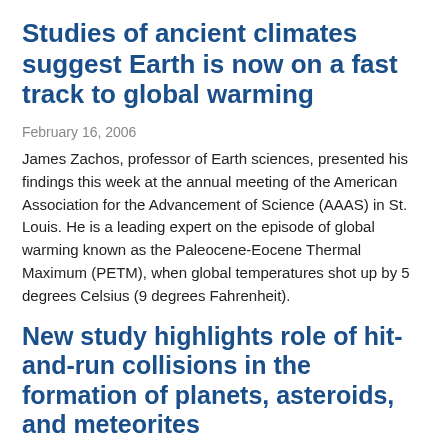Studies of ancient climates suggest Earth is now on a fast track to global warming
February 16, 2006
James Zachos, professor of Earth sciences, presented his findings this week at the annual meeting of the American Association for the Advancement of Science (AAAS) in St. Louis. He is a leading expert on the episode of global warming known as the Paleocene-Eocene Thermal Maximum (PETM), when global temperatures shot up by 5 degrees Celsius (9 degrees Fahrenheit).
New study highlights role of hit-and-run collisions in the formation of planets, asteroids, and meteorites